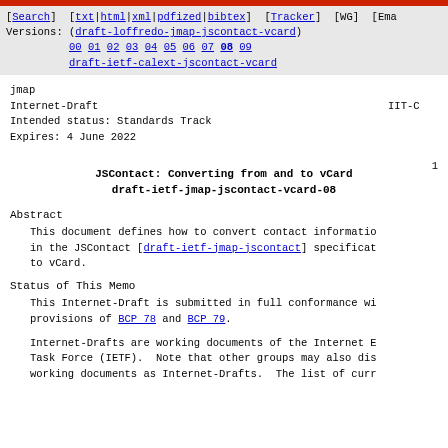[Search] [txt|html|xml|pdfized|bibtex] [Tracker] [WG] [Ema Versions: (draft-loffredo-jmap-jscontact-vcard) 00 01 02 03 04 05 06 07 08 09 draft-ietf-calext-jscontact-vcard
jmap
Internet-Draft                                        IIT-C
Intended status: Standards Track
Expires: 4 June 2022
1
JSContact: Converting from and to vCard
draft-ietf-jmap-jscontact-vcard-08
Abstract
This document defines how to convert contact informatio in the JSContact [draft-ietf-jmap-jscontact] specificat to vCard.
Status of This Memo
This Internet-Draft is submitted in full conformance wi provisions of BCP 78 and BCP 79.
Internet-Drafts are working documents of the Internet E Task Force (IETF).  Note that other groups may also dis working documents as Internet-Drafts.  The list of curr